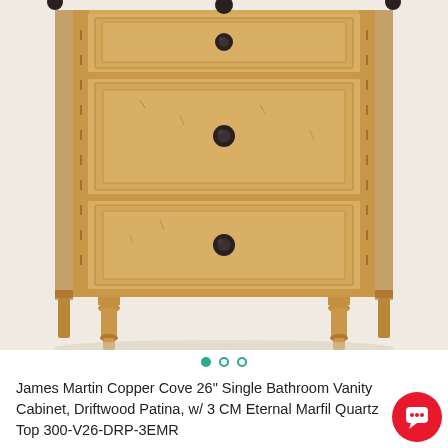[Figure (photo): Close-up photo of a James Martin Copper Cove wooden bathroom vanity cabinet with distressed driftwood patina finish, featuring three drawers with dark round knobs and decorative bamboo-style trim, shown on turned wooden legs against a light background.]
James Martin Copper Cove 26" Single Bathroom Vanity Cabinet, Driftwood Patina, w/ 3 CM Eternal Marfil Quartz Top 300-V26-DRP-3EMR